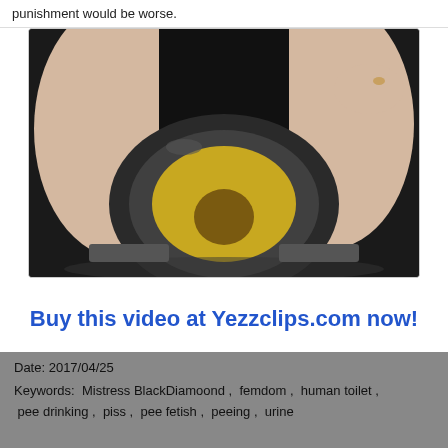punishment would be worse.
[Figure (photo): Close-up photo viewed from below through a toilet seat, showing a person seated above.]
Buy this video at Yezzclips.com now!
Date: 2017/04/25
Keywords:  Mistress BlackDiamoond ,  femdom ,  human toilet ,  pee drinking ,  piss ,  pee fetish ,  peeing ,  urine